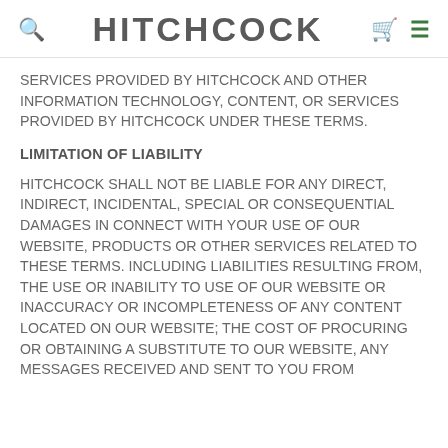HITCHCOCK
SERVICES PROVIDED BY HITCHCOCK AND OTHER INFORMATION TECHNOLOGY, CONTENT, OR SERVICES PROVIDED BY HITCHCOCK UNDER THESE TERMS.
LIMITATION OF LIABILITY
HITCHCOCK SHALL NOT BE LIABLE FOR ANY DIRECT, INDIRECT, INCIDENTAL, SPECIAL OR CONSEQUENTIAL DAMAGES IN CONNECT WITH YOUR USE OF OUR WEBSITE, PRODUCTS OR OTHER SERVICES RELATED TO THESE TERMS. INCLUDING LIABILITIES RESULTING FROM, THE USE OR INABILITY TO USE OF OUR WEBSITE OR INACCURACY OR INCOMPLETENESS OF ANY CONTENT LOCATED ON OUR WEBSITE; THE COST OF PROCURING OR OBTAINING A SUBSTITUTE TO OUR WEBSITE, ANY MESSAGES RECEIVED AND SENT TO YOU FROM